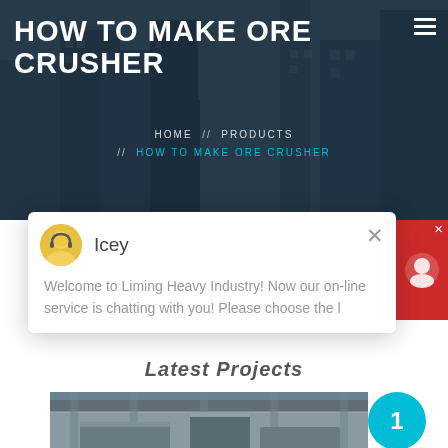[Figure (screenshot): Hero background image of construction site with buildings and cranes, overlaid with dark blue tint]
HOW TO MAKE ORE CRUSHER
HOME // PRODUCTS // HOW TO MAKE ORE CRUSHER
[Figure (screenshot): Chat widget popup showing avatar of 'Icey' with message: Welcome to Liming Heavy Industry! Now our on-line service is chatting with you! Please choose the l...]
[Figure (photo): Red support/chat button on right side]
Latest Projects
1
[Figure (photo): Photo of heavy industrial ore crushing equipment inside a factory building]